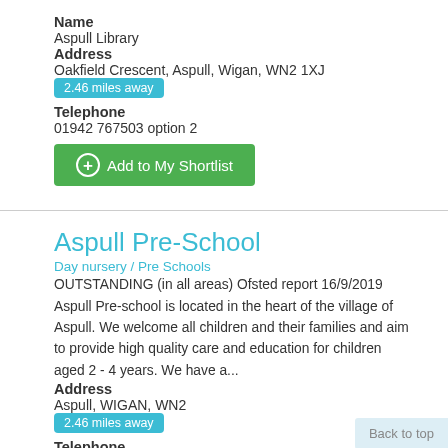Name
Aspull Library
Address
Oakfield Crescent, Aspull, Wigan, WN2 1XJ
2.46 miles away
Telephone
01942 767503 option 2
Add to My Shortlist
Aspull Pre-School
Day nursery / Pre Schools
OUTSTANDING (in all areas) Ofsted report 16/9/2019 Aspull Pre-school is located in the heart of the village of Aspull. We welcome all children and their families and aim to provide high quality care and education for children aged 2 - 4 years. We have a...
Address
Aspull, WIGAN, WN2
2.46 miles away
Telephone
Back to top